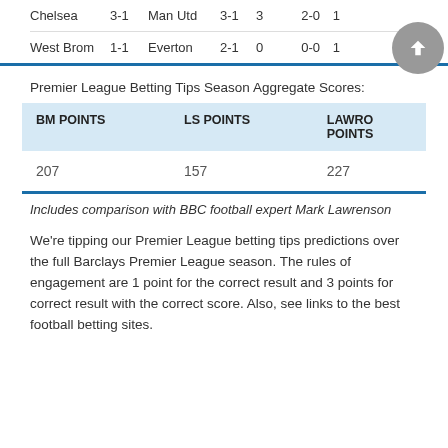| Team1 | Score | Team2 | Score | Pts | Result | Flag |
| --- | --- | --- | --- | --- | --- | --- |
| Chelsea | 3-1 | Man Utd | 3-1 | 3 | 2-0 | 1 |
| West Brom | 1-1 | Everton | 2-1 | 0 | 0-0 | 1 |
Premier League Betting Tips Season Aggregate Scores:
| BM POINTS | LS POINTS | LAWRO POINTS |
| --- | --- | --- |
| 207 | 157 | 227 |
Includes comparison with BBC football expert Mark Lawrenson
We're tipping our Premier League betting tips predictions over the full Barclays Premier League season. The rules of engagement are 1 point for the correct result and 3 points for correct result with the correct score. Also, see links to the best football betting sites.